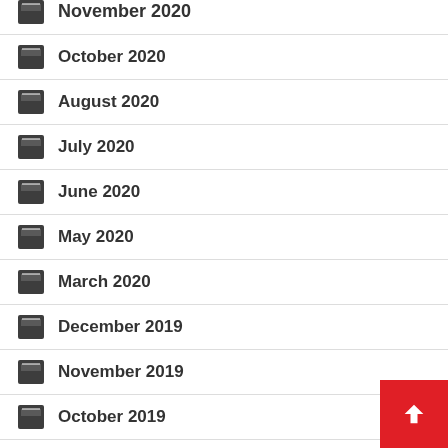November 2020
October 2020
August 2020
July 2020
June 2020
May 2020
March 2020
December 2019
November 2019
October 2019
August 2019
July 2019
June 2019
May 2019